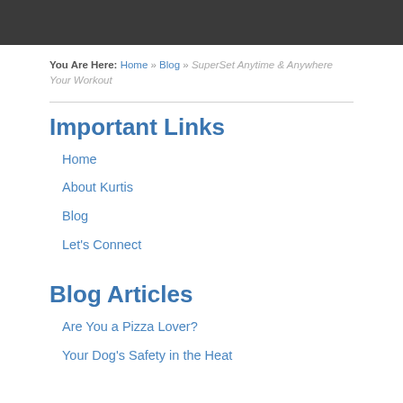You Are Here: Home » Blog » SuperSet Anytime & Anywhere Your Workout
Important Links
Home
About Kurtis
Blog
Let's Connect
Blog Articles
Are You a Pizza Lover?
Your Dog's Safety in the Heat